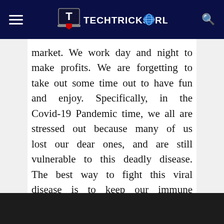TECHTRICKSWORLD
market. We work day and night to make profits. We are forgetting to take out some time out to have fun and enjoy. Specifically, in the Covid-19 Pandemic time, we all are stressed out because many of us lost our dear ones, and are still vulnerable to this deadly disease. The best way to fight this viral disease is to keep our immune system strong, and for that